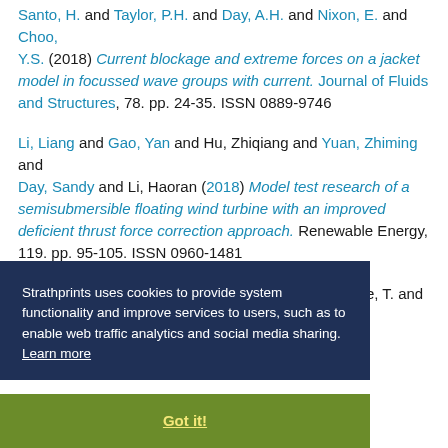Santo, H. and Taylor, P.H. and Day, A.H. and Nixon, E. and Choo, Y.S. (2018) Current blockage and extreme forces on a jacket model in focussed wave groups with current. Journal of Fluids and Structures, 78. pp. 24-35. ISSN 0889-9746
Li, Liang and Gao, Yan and Hu, Zhiqiang and Yuan, Zhiming and Day, Sandy and Li, Haoran (2018) Model test research of a semisubmersible floating wind turbine with an improved deficient thrust force correction approach. Renewable Energy, 119. pp. 95-105. ISSN 0960-1481
Draycott, S. and Noble, D.R. and Davey, T. and Bruce, T. and ... C.M. and Day, A. ... ic multi- ... Ocean
... Day, Sandy and Hu, Zhiqiang (2018) Dynamic response and power production